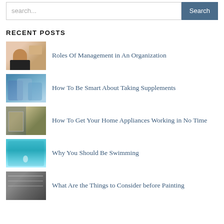search...
RECENT POSTS
Roles Of Management in An Organization
How To Be Smart About Taking Supplements
How To Get Your Home Appliances Working in No Time
Why You Should Be Swimming
What Are the Things to Consider before Painting